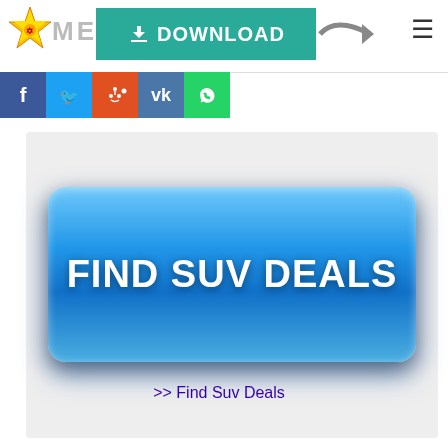[Figure (screenshot): Website header with logo (star icon and ME text), download banner (teal background with download arrow and DOWNLOAD text), arrow graphic, and hamburger menu icon on the right]
[Figure (screenshot): Row of social media sharing icons: Facebook (blue), Twitter (light blue), Reddit (orange-red), VK (blue), WhatsApp (green)]
[Figure (illustration): Blue gradient rounded rectangle button with white bold text reading FIND SUV DEALS, on a light gray background]
>> Find Suv Deals